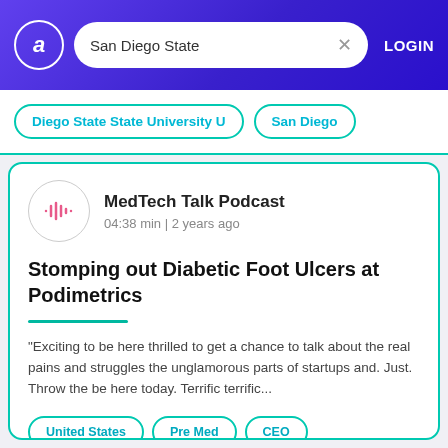San Diego State  LOGIN
Diego State State University U
San Diego
MedTech Talk Podcast
04:38 min | 2 years ago
Stomping out Diabetic Foot Ulcers at Podimetrics
"Exciting to be here thrilled to get a chance to talk about the real pains and struggles the unglamorous parts of startups and. Just. Throw the be here today. Terrific terrific...
United States
Pre Med
CEO